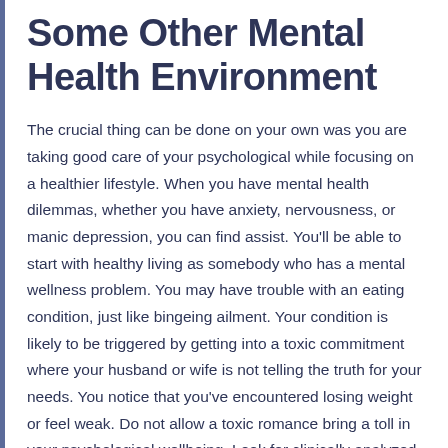Some Other Mental Health Environment
The crucial thing can be done on your own was you are taking good care of your psychological while focusing on a healthier lifestyle. When you have mental health dilemmas, whether you have anxiety, nervousness, or manic depression, you can find assist. You'll be able to start with healthy living as somebody who has a mental wellness problem. You may have trouble with an eating condition, just like bingeing ailment. Your condition is likely to be triggered by getting into a toxic commitment where your husband or wife is not telling the truth for your needs. You notice that you've encountered losing weight or feel weak. Do not allow a toxic romance bring a toll in your psychological wellbeing. Look for clinically analyzed studies that report how hazardous connections hurt people who have psychological state